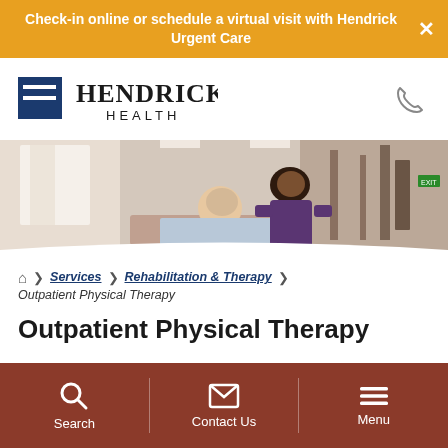Check-in online or schedule a virtual visit with Hendrick Urgent Care
[Figure (logo): Hendrick Health logo with blue chevron/arrow shape and bold serif text]
[Figure (photo): Healthcare worker in purple scrubs assisting a patient in a hospital bed, medical equipment visible in background]
Home > Services > Rehabilitation & Therapy > Outpatient Physical Therapy
Outpatient Physical Therapy
Search | Contact Us | Menu